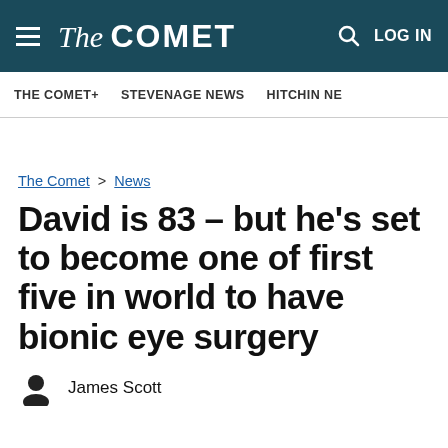The Comet — LOG IN
THE COMET+ | STEVENAGE NEWS | HITCHIN NE
The Comet > News
David is 83 – but he's set to become one of first five in world to have bionic eye surgery
James Scott